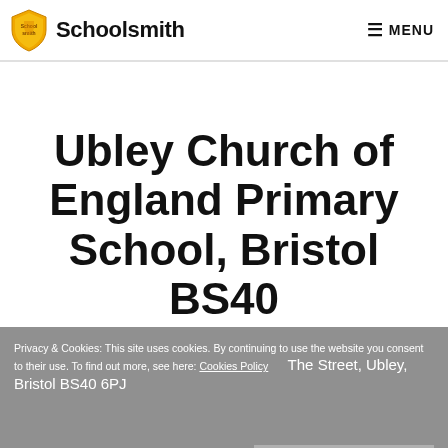Schoolsmith  ≡ MENU
Ubley Church of England Primary School, Bristol BS40
Privacy & Cookies: This site uses cookies. By continuing to use the website you consent to their use. To find out more, see here: Cookies Policy    The Street, Ubley, Bristol BS40 6PJ
Close and accept
[Figure (photo): Partial view of a building, likely the school, visible at the bottom of the page in light blue tones]